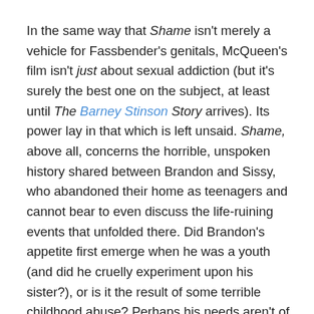In the same way that Shame isn't merely a vehicle for Fassbender's genitals, McQueen's film isn't just about sexual addiction (but it's surely the best one on the subject, at least until The Barney Stinson Story arrives). Its power lay in that which is left unsaid. Shame, above all, concerns the horrible, unspoken history shared between Brandon and Sissy, who abandoned their home as teenagers and cannot bear to even discuss the life-ruining events that unfolded there. Did Brandon's appetite first emerge when he was a youth (and did he cruelly experiment upon his sister?), or is it the result of some terrible childhood abuse? Perhaps his needs aren't of a pleasurable nature, but merely to obfuscate the poisonous memories in his head. Screenwriter Abi Morgan astutely leaves a great deal to our imagination, and allows the